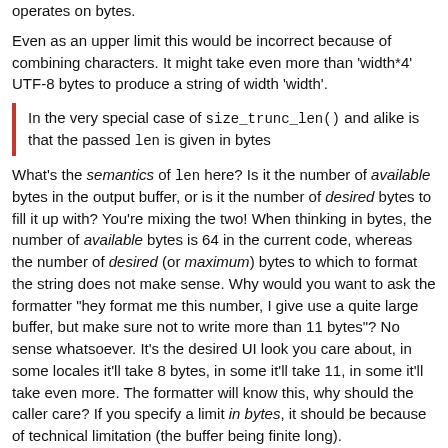operates on bytes.
Even as an upper limit this would be incorrect because of combining characters. It might take even more than 'width*4' UTF-8 bytes to produce a string of width 'width'.
In the very special case of size_trunc_len() and alike is that the passed len is given in bytes
What's the semantics of len here? Is it the number of available bytes in the output buffer, or is it the number of desired bytes to fill it up with? You're mixing the two! When thinking in bytes, the number of available bytes is 64 in the current code, whereas the number of desired (or maximum) bytes to which to format the string does not make sense. Why would you want to ask the formatter "hey format me this number, I give use a quite large buffer, but make sure not to write more than 11 bytes"? No sense whatsoever. It's the desired UI look you care about, in some locales it'll take 8 bytes, in some it'll take 11, in some it'll take even more. The formatter will know this, why should the caller care? If you specify a limit in bytes, it should be because of technical limitation (the buffer being finite long).
This is the desired amount of bytes, upper bound. I am not mixing it. I was aware of this issue upfront and this existed way before I started to change anything. The reason for limit the output length is that the column is bound to 8 chars, everything is truncated with a tidle. Not my contribution. That's the current state.
You need to absolutely cleary separate all these conceps in your mind. Currently you're thiking about a washed-up mess of these. As long as you don't manage to separate these